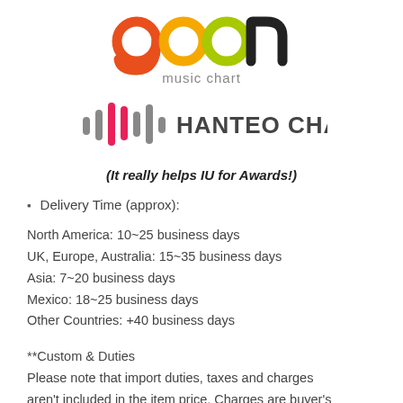[Figure (logo): Gaon Music Chart logo with colorful circles forming the word 'gaon' and 'music chart' subtitle]
[Figure (logo): Hanteo Chart logo with pink and gray audio waveform bars next to bold text 'HANTEO CHART']
(It really helps IU for Awards!)
Delivery Time (approx):
North America: 10~25 business days
UK, Europe, Australia: 15~35 business days
Asia: 7~20 business days
Mexico: 18~25 business days
Other Countries: +40 business days
**Custom & Duties
Please note that import duties, taxes and charges aren't included in the item price. Charges are buyer's